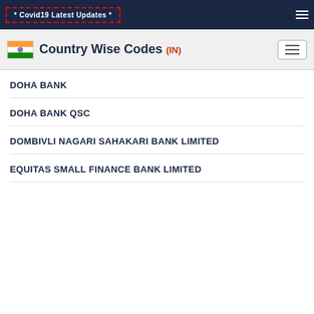* Covid19 Latest Updates *
Country Wise Codes (IN)
DOHA BANK
DOHA BANK QSC
DOMBIVLI NAGARI SAHAKARI BANK LIMITED
EQUITAS SMALL FINANCE BANK LIMITED